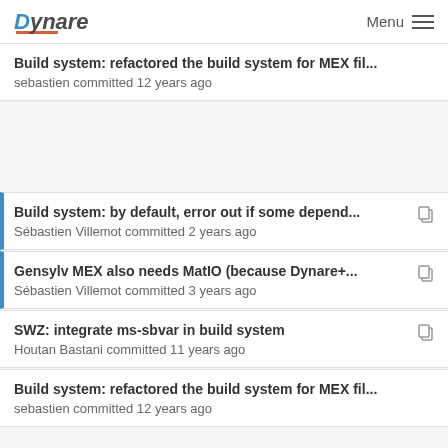Dynare  Menu
Build system: refactored the build system for MEX fil...
sebastien committed 12 years ago
Build system: by default, error out if some depend...
Sébastien Villemot committed 2 years ago
Gensylv MEX also needs MatIO (because Dynare+...
Sébastien Villemot committed 3 years ago
SWZ: integrate ms-sbvar in build system
Houtan Bastani committed 11 years ago
Build system: refactored the build system for MEX fil...
sebastien committed 12 years ago